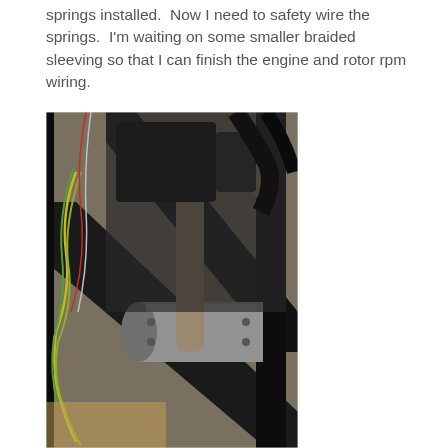springs installed.  Now I need to safety wire the springs.  I'm waiting on some smaller braided sleeving so that I can finish the engine and rotor rpm wiring.
[Figure (photo): Close-up photograph of an engine assembly mounted in a black metal frame, showing exhaust pipes, wiring harnesses with yellow and green wires, and metallic components including what appears to be an exhaust muffler/canister.]